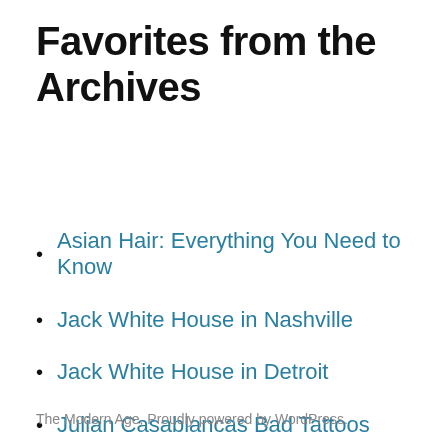Favorites from the Archives
Asian Hair: Everything You Need to Know
Jack White House in Nashville
Jack White House in Detroit
Julian Casablancas Bad Tattoos
The Modern Age, Proudly powered by WordPress.